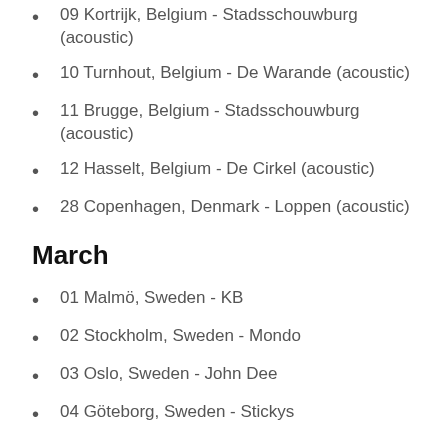09 Kortrijk, Belgium - Stadsschouwburg (acoustic)
10 Turnhout, Belgium - De Warande (acoustic)
11 Brugge, Belgium - Stadsschouwburg (acoustic)
12 Hasselt, Belgium - De Cirkel (acoustic)
28 Copenhagen, Denmark - Loppen (acoustic)
March
01 Malmö, Sweden - KB
02 Stockholm, Sweden - Mondo
03 Oslo, Sweden - John Dee
04 Göteborg, Sweden - Stickys